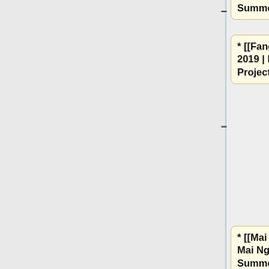* [[Fanghui He's CPT Project 2019 | Fanghui He's CPT Project]], Summer 2019
* [[Mai Ngo's CPT Project 2019 | Mai Ngo's CPT Project]], Summer 2019
* [[Asmita Gautam's CPT Project 2019 | Asmita Gautam's CPT Project]], Summer 2019
* [[Georgina